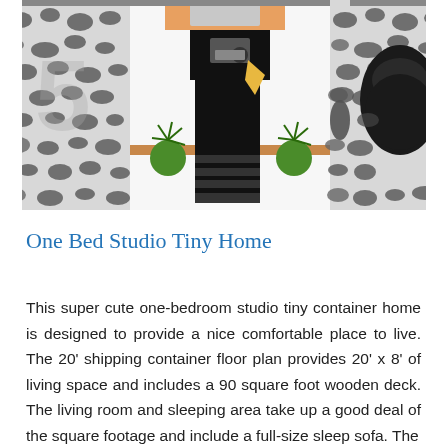[Figure (illustration): Top-down floor plan rendering of a tiny container home showing a black and white pebble/stone patterned floor on the sides, green plants, a central dark entry/door area, white interior spaces, and a black chair on the right.]
One Bed Studio Tiny Home
This super cute one-bedroom studio tiny container home is designed to provide a nice comfortable place to live. The 20' shipping container floor plan provides 20' x 8' of living space and includes a 90 square foot wooden deck. The living room and sleeping area take up a good deal of the square footage and include a full-size sleep sofa. The